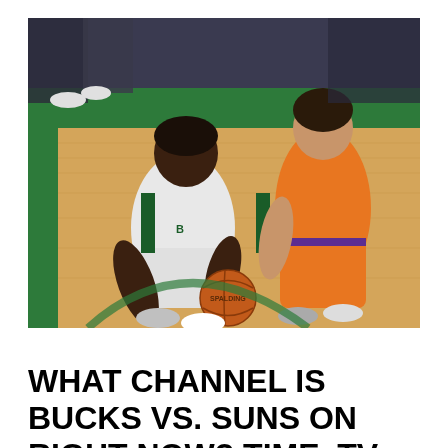[Figure (photo): Two NBA basketball players on a hardwood court. A Milwaukee Bucks player in white uniform is dribbling the ball (Spalding brand visible) while a Phoenix Suns player in orange uniform defends. Spectators and green flooring are visible in the background.]
WHAT CHANNEL IS BUCKS VS. SUNS ON RIGHT NOW? TIME, TV SCHEDULE FOR SPORT 5 OF